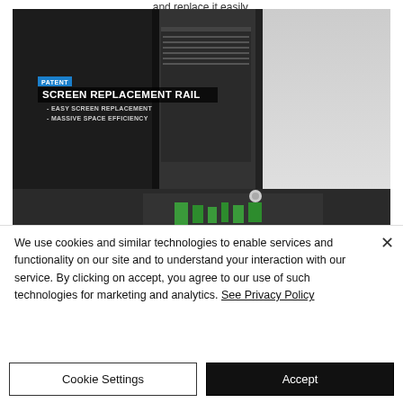and replace it easily.
[Figure (photo): Industrial machine component showing a Screen Replacement Rail system. The image features a dark machine housing with a PATENT badge in blue, bold white text reading SCREEN REPLACEMENT RAIL with bullet points: - EASY SCREEN REPLACEMENT, - MASSIVE SPACE EFFICIENCY. Green mechanical components visible at bottom.]
We use cookies and similar technologies to enable services and functionality on our site and to understand your interaction with our service. By clicking on accept, you agree to our use of such technologies for marketing and analytics. See Privacy Policy